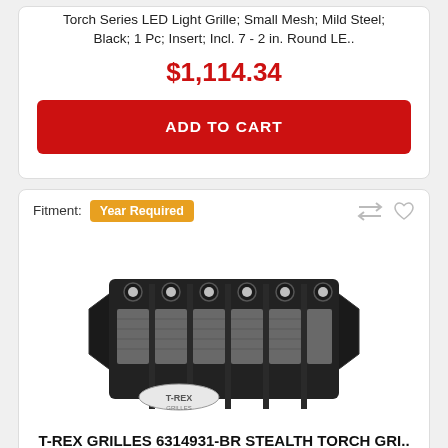Torch Series LED Light Grille; Small Mesh; Mild Steel; Black; 1 Pc; Insert; Incl. 7 - 2 in. Round LE..
$1,114.34
ADD TO CART
Fitment: Year Required
[Figure (photo): T-Rex Grilles 6314931-BR Stealth Torch Grille product photo showing a black mesh grille with round LED light mounts across the top]
T-REX GRILLES 6314931-BR STEALTH TORCH GRI..
Brand: T-Rex Grilles